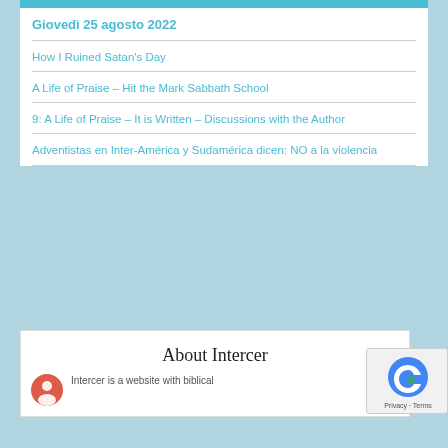Giovedì 25 agosto 2022
How I Ruined Satan's Day
A Life of Praise – Hit the Mark Sabbath School
9: A Life of Praise – It is Written – Discussions with the Author
Adventistas en Inter-América y Sudamérica dicen: NO a la violencia
About Intercer
Intercer is a website with biblical